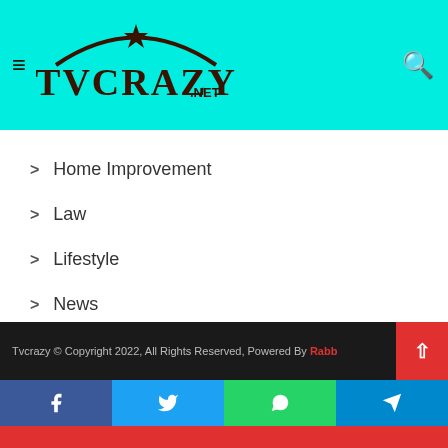TVCRAZY.NET
Home Improvement
Law
Lifestyle
News
Social Media
Sports
Technology
Tvcrazy © Copyright 2022, All Rights Reserved, Powered By Rabb